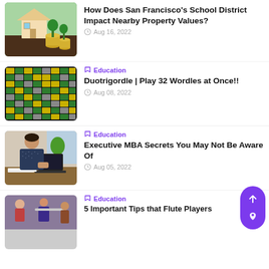[Figure (photo): House model with plant growing from coins, green background]
How Does San Francisco's School District Impact Nearby Property Values?
Aug 16, 2022
[Figure (screenshot): Screenshot of Duotrigordle game board with colorful letter tiles]
Education
Duotrigordle | Play 32 Wordles at Once!!
Aug 08, 2022
[Figure (photo): Woman working on laptop at desk with notebook]
Education
Executive MBA Secrets You May Not Be Aware Of
Aug 05, 2022
[Figure (photo): Person playing flute in a group setting]
Education
5 Important Tips that Flute Players